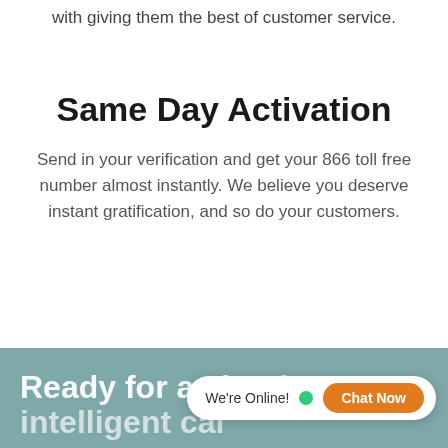with giving them the best of customer service.
Same Day Activation
Send in your verification and get your 866 toll free number almost instantly. We believe you deserve instant gratification, and so do your customers.
Ready for a cloud-intelligent call